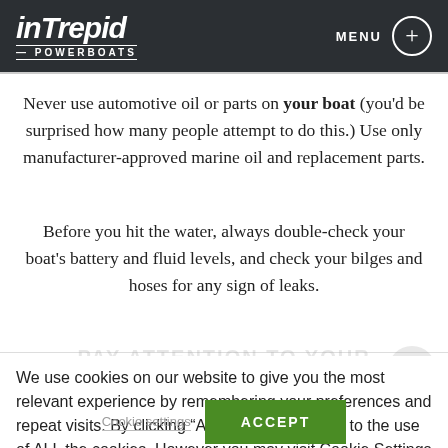Intrepid Powerboats — MENU
Never use automotive oil or parts on your boat (you'd be surprised how many people attempt to do this.) Use only manufacturer-approved marine oil and replacement parts.
Before you hit the water, always double-check your boat's battery and fluid levels, and check your bilges and hoses for any sign of leaks.
We use cookies on our website to give you the most relevant experience by remembering your preferences and repeat visits. By clicking “Accept”, you consent to the use of ALL the cookies. However you may visit Cookie Settings to provide a controlled consent.